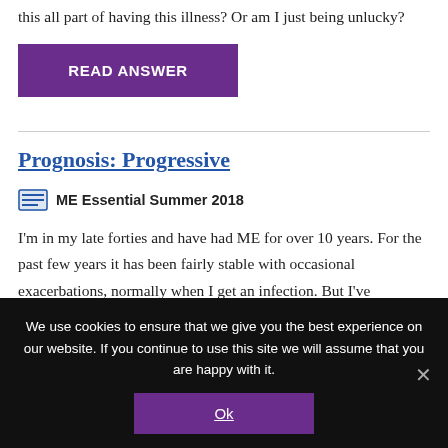this all part of having this illness? Or am I just being unlucky?
READ ANSWER
Prognosis: Progressive
ME Essential Summer 2018
I'm in my late forties and have had ME for over 10 years. For the past few years it has been fairly stable with occasional exacerbations, normally when I get an infection. But I've
We use cookies to ensure that we give you the best experience on our website. If you continue to use this site we will assume that you are happy with it.
Ok